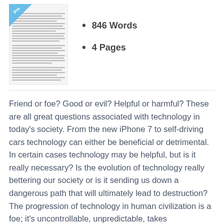[Figure (screenshot): Thumbnail preview of a document page with a 'Preview' watermark/badge in the top-left corner. The document shows dense lines of text.]
846 Words
4 Pages
Friend or foe? Good or evil? Helpful or harmful? These are all great questions associated with technology in today’s society. From the new iPhone 7 to self-driving cars technology can either be beneficial or detrimental. In certain cases technology may be helpful, but is it really necessary? Is the evolution of technology really bettering our society or is it sending us down a dangerous path that will ultimately lead to destruction? The progression of technology in human civilization is a foe; it’s uncontrollable, unpredictable, takes commitment, and complicates life. Technology can be reliable for certain tasks; however, as the advancements in